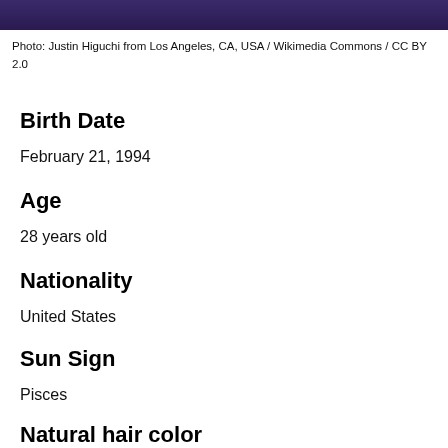[Figure (photo): Photo of a person, cropped at top of page]
Photo: Justin Higuchi from Los Angeles, CA, USA / Wikimedia Commons / CC BY 2.0
Birth Date
February 21, 1994
Age
28 years old
Nationality
United States
Sun Sign
Pisces
Natural hair color